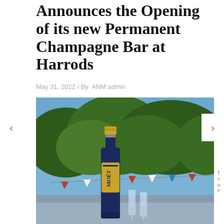Announces the Opening of its new Permanent Champagne Bar at Harrods
May 31, 2022 / By ANM admin
[Figure (photo): A Moët & Chandon champagne bottle in the foreground with two champagne flutes partially visible, set outdoors against a blue sky and green trees, with red, white, and blue bunting in the background.]